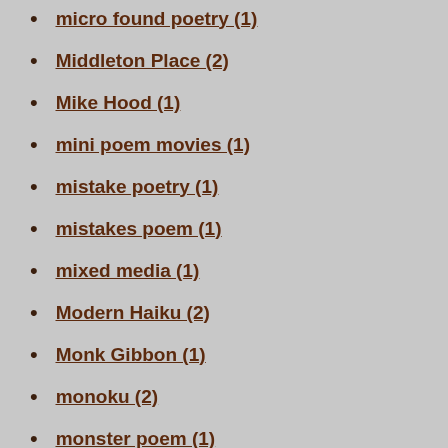micro found poetry (1)
Middleton Place (2)
Mike Hood (1)
mini poem movies (1)
mistake poetry (1)
mistakes poem (1)
mixed media (1)
Modern Haiku (2)
Monk Gibbon (1)
monoku (2)
monster poem (1)
moon poem (1)
Morgan Whyte (1)
morning glories (1)
Mortimer Minute (1)
motherhood (1)